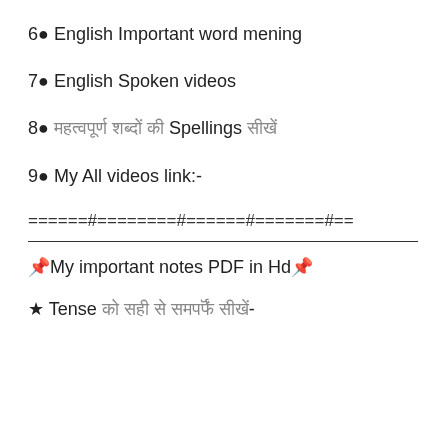6● English Important word mening
7● English Spoken videos
8● [Hindi text] Spellings [Hindi text]
9● My All videos link:-
======#========#======#=======#==
____________________________________
📌My important notes PDF in Hd📌
★ Tense [Hindi text] [Hindi text] [Hindi text]-